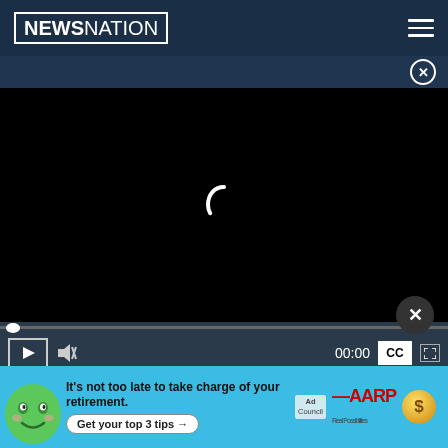[Figure (screenshot): NewsNation website screenshot showing a video player loading (black screen with spinner), video controls, a partial article text quote, a close/X overlay button, and an AARP ad banner at the bottom.]
"The little girls closest to me kept patting me and telling me it's going to be OK, miss,' said ... elementary ...